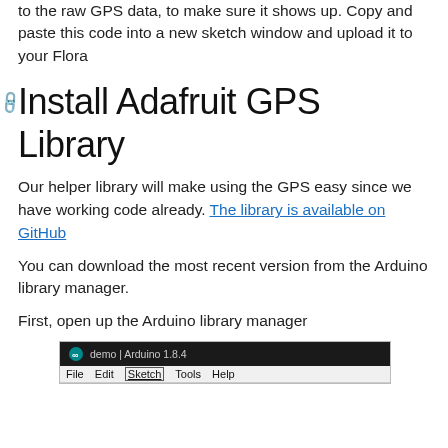to the raw GPS data, to make sure it shows up. Copy and paste this code into a new sketch window and upload it to your Flora
Install Adafruit GPS Library
Our helper library will make using the GPS easy since we have working code already. The library is available on GitHub
You can download the most recent version from the Arduino library manager.
First, open up the Arduino library manager
[Figure (screenshot): Arduino IDE 1.8.4 window showing menu bar with File, Edit, Sketch (highlighted/underlined), Tools, Help options on a light gray background, with dark title bar showing 'demo | Arduino 1.8.4']